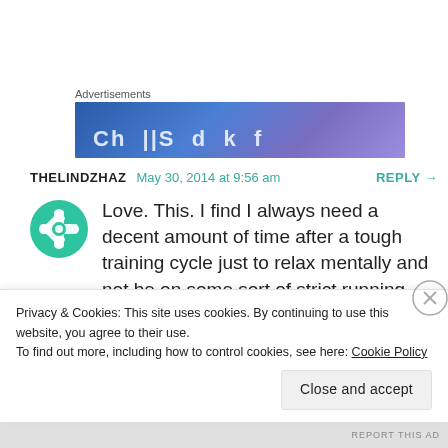Advertisements
[Figure (illustration): Blue-purple gradient advertisement banner with partial white text visible]
THELINDZHAZ   May 30, 2014 at 9:56 am   REPLY →
[Figure (logo): Green snowflake/cross avatar icon for user THELINDZHAZ]
Love. This. I find I always need a decent amount of time after a tough training cycle just to relax mentally and not be on some sort of strict running regimen. I just feel like the...
Privacy & Cookies: This site uses cookies. By continuing to use this website, you agree to their use.
To find out more, including how to control cookies, see here: Cookie Policy
Close and accept